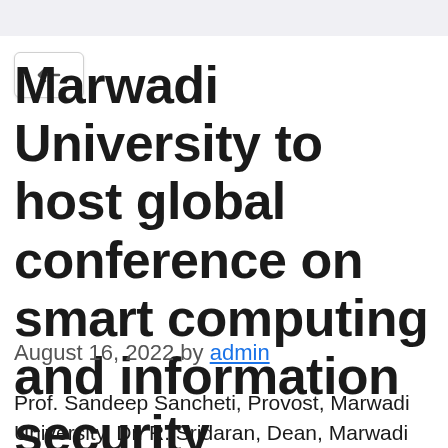Marwadi University to host global conference on smart computing and information security
August 16, 2022 by admin
Prof. Sandeep Sancheti, Provost, Marwadi University. Dr. R. Sridaran, Dean, Marwadi University Marwadi University (MU) Logo NEW DELHI, 16th AUGUST, 2022 (GPN)